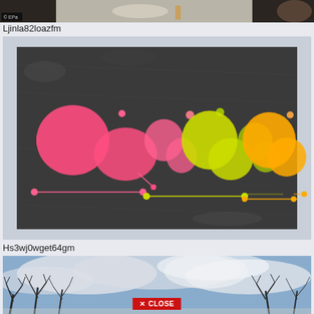[Figure (photo): Partial top strip showing a dark image with EPA watermark, appearing to show objects on a table]
Ljinla82loazfm
[Figure (photo): Artwork displayed on a dark textured/charcoal background showing colorful neon figures in pink, yellow-green, and orange in stylized human forms with connecting lines and dots]
Hs3wj0wget64gm
[Figure (photo): Winter outdoor scene showing bare trees against a cloudy sky, with a red CLOSE button overlay at the bottom]